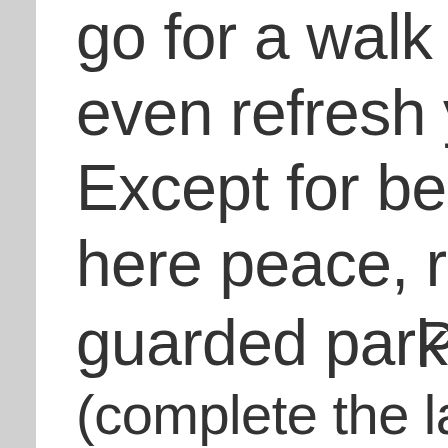go for a walk in the p... even refresh yourself... Except for beautiful e... here peace, relaxation...
P
guarded parking lot (... ...